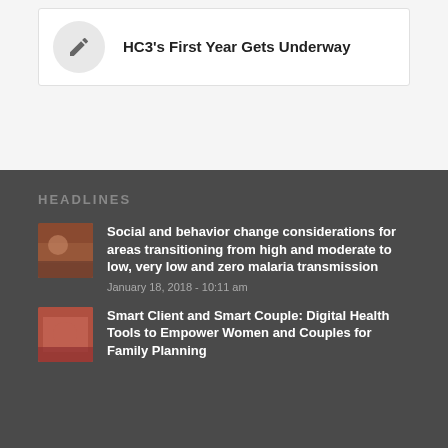HC3's First Year Gets Underway
HEADLINES
Social and behavior change considerations for areas transitioning from high and moderate to low, very low and zero malaria transmission
January 18, 2018 - 10:11 am
Smart Client and Smart Couple: Digital Health Tools to Empower Women and Couples for Family Planning